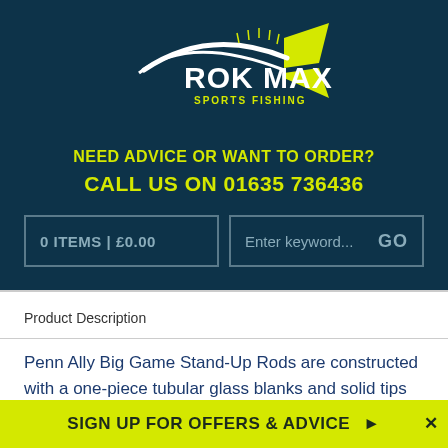[Figure (logo): ROK MAX Sports Fishing logo with fish silhouette in white and yellow on dark teal background]
NEED ADVICE OR WANT TO ORDER?
CALL US ON 01635 736436
0 ITEMS | £0.00
Enter keyword...   GO
Product Description
Penn Ally Big Game Stand-Up Rods are constructed with a one-piece tubular glass blanks and solid tips for ultimate strength and durability. Economically priced rods suitable for a wide range of game fish.
SIGN UP FOR OFFERS & ADVICE